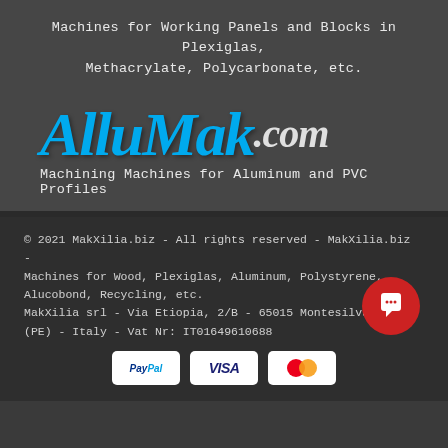Machines for Working Panels and Blocks in Plexiglas, Methacrylate, Polycarbonate, etc.
[Figure (logo): AlluMak.com logo in large blue italic serif font with .com in white/grey italic]
Machining Machines for Aluminum and PVC Profiles
© 2021 MakXilia.biz - All rights reserved - MakXilia.biz - Machines for Wood, Plexiglas, Aluminum, Polystyrene, Alucobond, Recycling, etc.
MakXilia srl - Via Etiopia, 2/B - 65015 Montesilvano (PE) - Italy - Vat Nr: IT01649610688
[Figure (other): Payment method icons: PayPal, VISA, Mastercard]